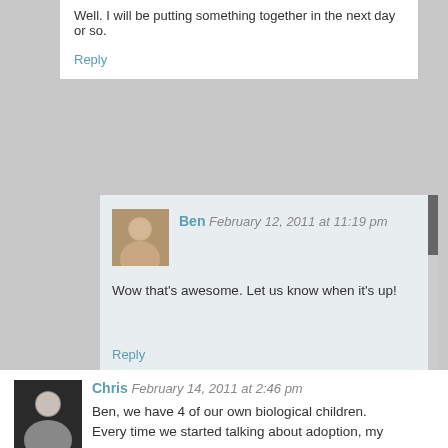Well. I will be putting something together in the next day or so.
Reply
Ben February 12, 2011 at 11:19 pm
Wow that's awesome. Let us know when it's up!
Reply
Sean Sabourin February 12, 2011 at 11:31 pm
Will do!
Reply
Chris February 14, 2011 at 2:46 pm
Ben, we have 4 of our own biological children. Every time we started talking about adoption, my